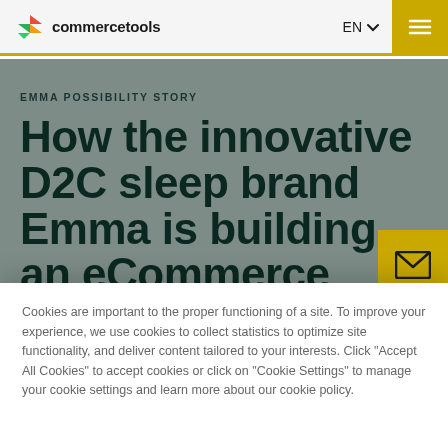commercetools EN
EMMA POSSIBILITY STORY
How the innovative D2C sleep brand Emma is building an eCommerce solution to fit their rapid business growth
Cookies are important to the proper functioning of a site. To improve your experience, we use cookies to collect statistics to optimize site functionality, and deliver content tailored to your interests. Click "Accept All Cookies" to accept cookies or click on "Cookie Settings" to manage your cookie settings and learn more about our cookie policy.